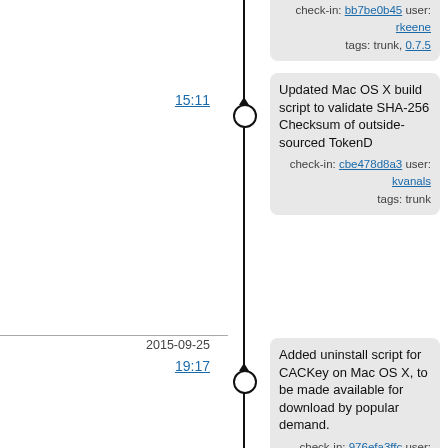check-in: bb7be0b45 user: rkeene tags: trunk, 0.7.5
15:11
Updated Mac OS X build script to validate SHA-256 Checksum of outside-sourced TokenD
check-in: cbe478d8a3 user: kvanals tags: trunk
2015-09-25
19:17
Added uninstall script for CACKey on Mac OS X, to be made available for download by popular demand.
check-in: 976efa3ffc user: kvanals tags: trunk
2015-08-30
03:21
Updated to use older mechanism for activating gzip support in zlib, to support zlib older than zlib 1.2.4
check-in: ce2ae07c02 user: rkeene tags: trunk
2015-07-27
15:41